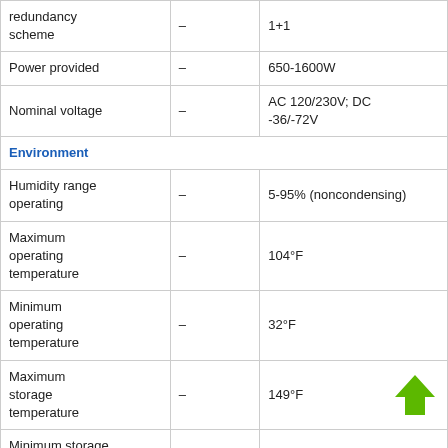| Feature |  | Value |
| --- | --- | --- |
| redundancy scheme | – | 1+1 |
| Power provided | – | 650-1600W |
| Nominal voltage | – | AC 120/230V; DC -36/-72V |
| Environment |  |  |
| Humidity range operating | – | 5-95% (noncondensing) |
| Maximum operating temperature | – | 104°F |
| Minimum operating temperature | – | 32°F |
| Maximum storage temperature | – | 149°F |
| Minimum storage temperature | – | -4°F |